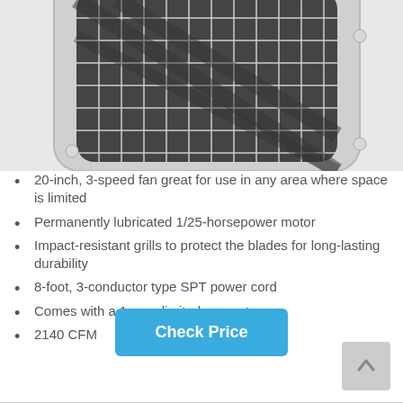[Figure (photo): Close-up photo of a white box fan with metal wire grille and visible fan blades, partially cropped at top]
20-inch, 3-speed fan great for use in any area where space is limited
Permanently lubricated 1/25-horsepower motor
Impact-resistant grills to protect the blades for long-lasting durability
8-foot, 3-conductor type SPT power cord
Comes with a 1-year limited warranty
2140 CFM